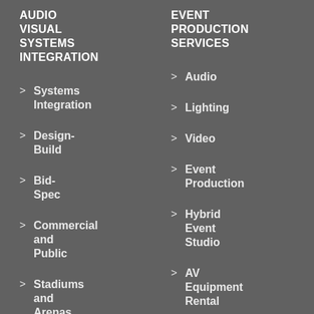AUDIO VISUAL SYSTEMS INTEGRATION
EVENT PRODUCTION SERVICES
Systems Integration
Audio
Design-Build
Lighting
Bid-Spec
Video
Commercial and Public
Event Production
Stadiums and Arenas
Hybrid Event Studio
AV Equipment Rental